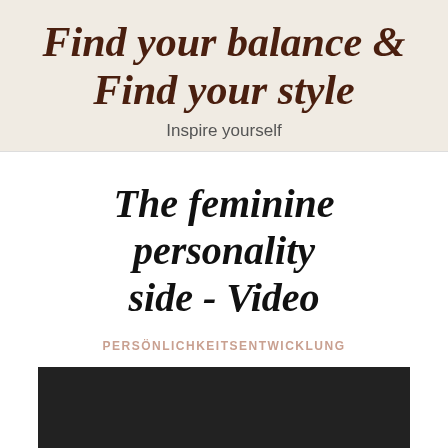Find your balance & Find your style
Inspire yourself
The feminine personality side - Video
PERSÖNLICHKEITSENTWICKLUNG
[Figure (screenshot): Dark/black video thumbnail placeholder]